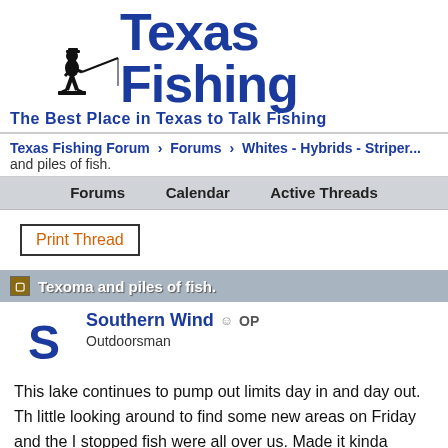[Figure (logo): Texas Fishing logo with silhouette of fisherman casting a rod, bold blue text reading 'Texas Fishing' and tagline 'The Best Place in Texas to Talk Fishing']
Texas Fishing Forum › Forums › Whites - Hybrids - Striper... and piles of fish.
Forums   Calendar   Active Threads
Print Thread
Texoma and piles of fish.
Southern Wind ☺ OP
Outdoorsman
This lake continues to pump out limits day in and day out. Th... little looking around to find some new areas on Friday and th... I stopped fish were all over us. Made it kinda difficult to decid... morning. And wouldn't you know the spot I picked had only a... graph that morning when I pulled up. To say the least that cha...